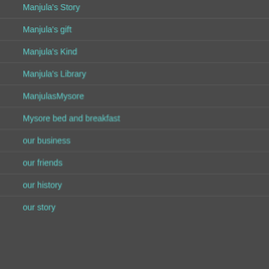Manjula's Story
Manjula's gift
Manjula's Kind
Manjula's Library
ManjulasMysore
Mysore bed and breakfast
our business
our friends
our history
our story